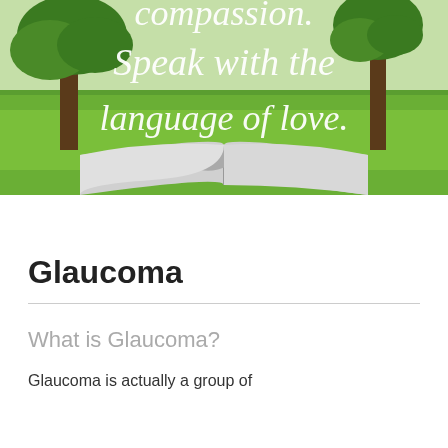[Figure (illustration): Hero image showing an open book with a scenic background of green grass and trees, with italic white text overlay reading 'compassion. Speak with the language of love.']
Glaucoma
What is Glaucoma?
Glaucoma is actually a group of